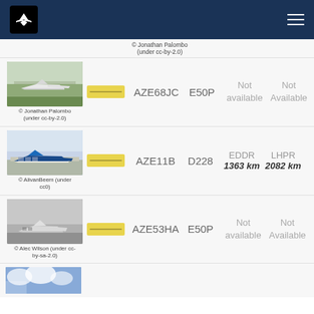Flight tracker navigation header
© Jonathan Palombo (under cc-by-2.0)
[Figure (photo): Small white jet aircraft on runway, trees in background]
© Jonathan Palombo (under cc-by-2.0)
AZE68JC | E50P | Not available | Not Available
[Figure (photo): Blue and white propeller aircraft on tarmac]
© AlivanBeem (under cc0)
AZE11B | D228 | EDDR 1363 km | LHPR 2082 km
[Figure (photo): White small jet aircraft on tarmac, grey sky]
© Alec Wilson (under cc-by-sa-2.0)
AZE53HA | E50P | Not available | Not Available
[Figure (photo): Partial view of aircraft, blue sky with clouds]